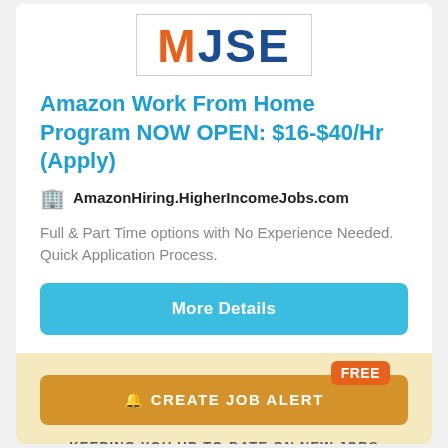[Figure (logo): MJSE logo with M in orange and JSE in dark blue, inside a bordered box]
Amazon Work From Home Program NOW OPEN: $16-$40/Hr (Apply)
🏢 AmazonHiring.HigherIncomeJobs.com
Full & Part Time options with No Experience Needed. Quick Application Process.
More Details
FREE
🔔 CREATE JOB ALERT
KEEPING YOU UP-TO-DATE ON NEW JOBS